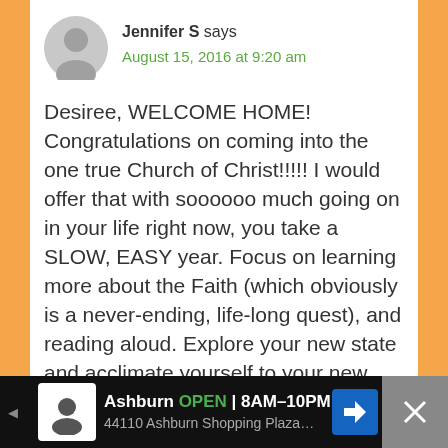Jennifer S says
August 15, 2016 at 9:20 am
Desiree, WELCOME HOME! Congratulations on coming into the one true Church of Christ!!!!! I would offer that with soooooo much going on in your life right now, you take a SLOW, EASY year. Focus on learning more about the Faith (which obviously is a never-ending, life-long quest), and reading aloud. Explore your new state and acclimate yourself to your new life! Don't sweat the academics! Your children will learn PLENTY by just living life! Sure, throw in some math lessons, watch some history DVDs… but go on LOTS of nature
[Figure (screenshot): Advertisement bar at the bottom: Ashburn OPEN 8AM-10PM, 44110 Ashburn Shopping Plaza...]